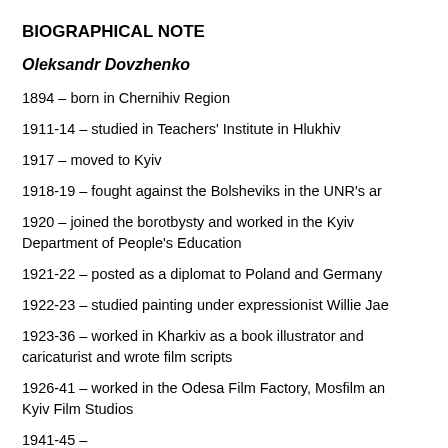BIOGRAPHICAL NOTE
Oleksandr Dovzhenko
1894 – born in Chernihiv Region
1911-14 – studied in Teachers' Institute in Hlukhiv
1917 – moved to Kyiv
1918-19 – fought against the Bolsheviks in the UNR's ar
1920 – joined the borotbysty and worked in the Kyiv Department of People's Education
1921-22 – posted as a diplomat to Poland and Germany
1922-23 – studied painting under expressionist Willie Jae
1923-36 – worked in Kharkiv as a book illustrator and caricaturist and wrote film scripts
1926-41 – worked in the Odesa Film Factory, Mosfilm an Kyiv Film Studios
1941-45 – ...